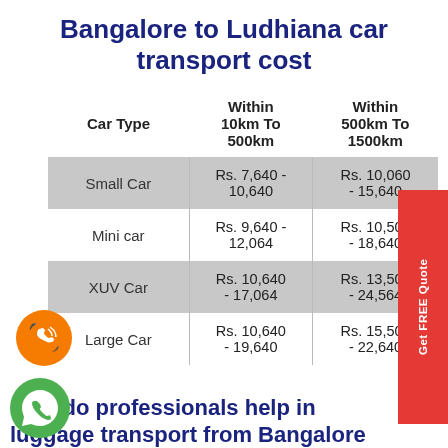Bangalore to Ludhiana car transport cost
| Car Type | Within 10km To 500km | Within 500km To 1500km |
| --- | --- | --- |
| Small Car | Rs. 7,640 - 10,640 | Rs. 10,060 - 15,640 |
| Mini car | Rs. 9,640 - 12,064 | Rs. 10,500 - 18,640 |
| XUV Car | Rs. 10,640 - 17,064 | Rs. 13,500 - 24,564 |
| Large Car | Rs. 10,640 - 19,640 | Rs. 15,500 - 22,640 |
How do professionals help in luggage transport from Bangalore